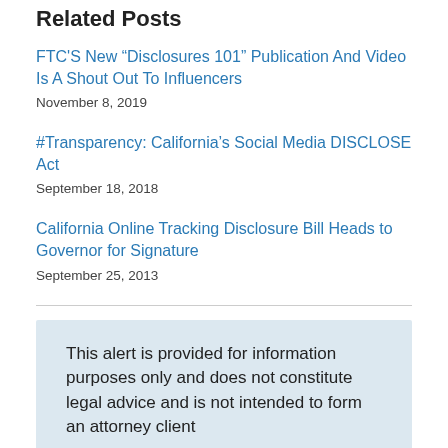Related Posts
FTC'S New “Disclosures 101” Publication And Video Is A Shout Out To Influencers
November 8, 2019
#Transparency: California’s Social Media DISCLOSE Act
September 18, 2018
California Online Tracking Disclosure Bill Heads to Governor for Signature
September 25, 2013
This alert is provided for information purposes only and does not constitute legal advice and is not intended to form an attorney client